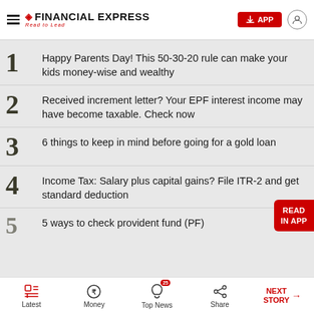FINANCIAL EXPRESS – Read to Lead
1 Happy Parents Day! This 50-30-20 rule can make your kids money-wise and wealthy
2 Received increment letter? Your EPF interest income may have become taxable. Check now
3 6 things to keep in mind before going for a gold loan
4 Income Tax: Salary plus capital gains? File ITR-2 and get standard deduction
5 5 ways to check provident fund (PF)
Latest | Money | Top News 25 | Share | NEXT STORY →